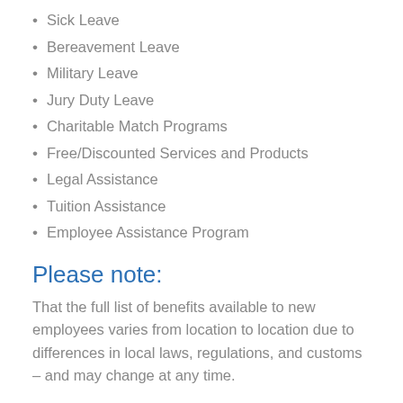Sick Leave
Bereavement Leave
Military Leave
Jury Duty Leave
Charitable Match Programs
Free/Discounted Services and Products
Legal Assistance
Tuition Assistance
Employee Assistance Program
Please note:
That the full list of benefits available to new employees varies from location to location due to differences in local laws, regulations, and customs – and may change at any time.